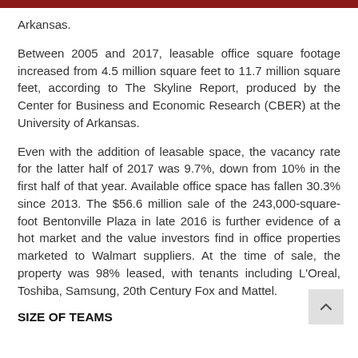Arkansas.
Between 2005 and 2017, leasable office square footage increased from 4.5 million square feet to 11.7 million square feet, according to The Skyline Report, produced by the Center for Business and Economic Research (CBER) at the University of Arkansas.
Even with the addition of leasable space, the vacancy rate for the latter half of 2017 was 9.7%, down from 10% in the first half of that year. Available office space has fallen 30.3% since 2013. The $56.6 million sale of the 243,000-square-foot Bentonville Plaza in late 2016 is further evidence of a hot market and the value investors find in office properties marketed to Walmart suppliers. At the time of sale, the property was 98% leased, with tenants including L'Oreal, Toshiba, Samsung, 20th Century Fox and Mattel.
SIZE OF TEAMS